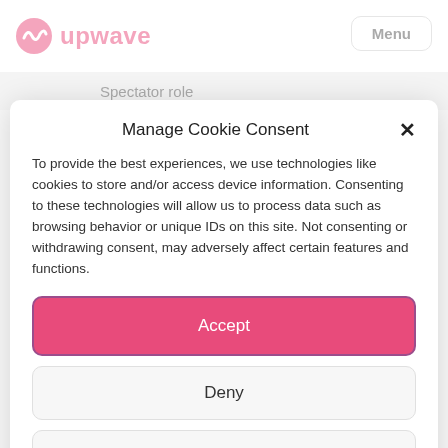[Figure (logo): Upwave logo with pink wave icon and pink text 'upwave']
Menu
Spectator role
Manage Cookie Consent
To provide the best experiences, we use technologies like cookies to store and/or access device information. Consenting to these technologies will allow us to process data such as browsing behavior or unique IDs on this site. Not consenting or withdrawing consent, may adversely affect certain features and functions.
Accept
Deny
View preferences
Privacy